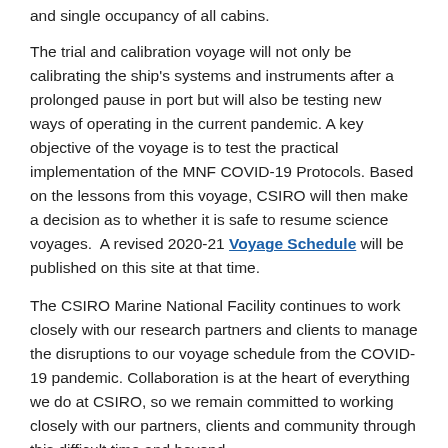and single occupancy of all cabins.
The trial and calibration voyage will not only be calibrating the ship's systems and instruments after a prolonged pause in port but will also be testing new ways of operating in the current pandemic. A key objective of the voyage is to test the practical implementation of the MNF COVID-19 Protocols. Based on the lessons from this voyage, CSIRO will then make a decision as to whether it is safe to resume science voyages.  A revised 2020-21 Voyage Schedule will be published on this site at that time.
The CSIRO Marine National Facility continues to work closely with our research partners and clients to manage the disruptions to our voyage schedule from the COVID-19 pandemic. Collaboration is at the heart of everything we do at CSIRO, so we remain committed to working closely with our partners, clients and community through this difficult time and beyond.